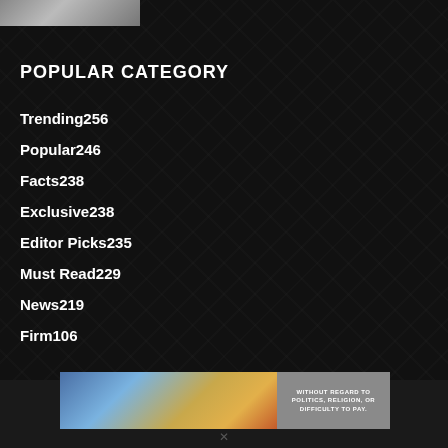[Figure (photo): Small thumbnail photo at top left, partially visible]
POPULAR CATEGORY
Trending256
Popular246
Facts238
Exclusive238
Editor Picks235
Must Read229
News219
Firm106
[Figure (photo): Banner advertisement showing an airplane being loaded with cargo, with text 'WITHOUT REGARD TO POLITICS, RELIGION, OR DIFFICULTY TO PAY']